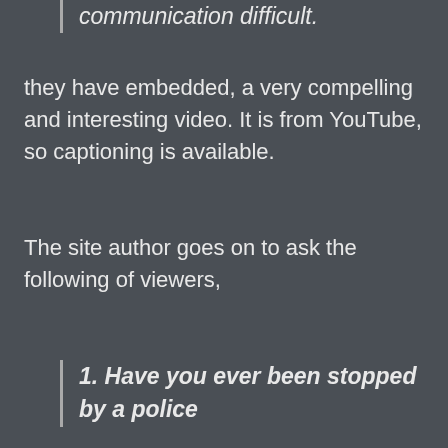communication difficult.
they have embedded, a very compelling and interesting video. It is from YouTube, so captioning is available.
The site author goes on to ask the following of viewers,
1. Have you ever been stopped by a police